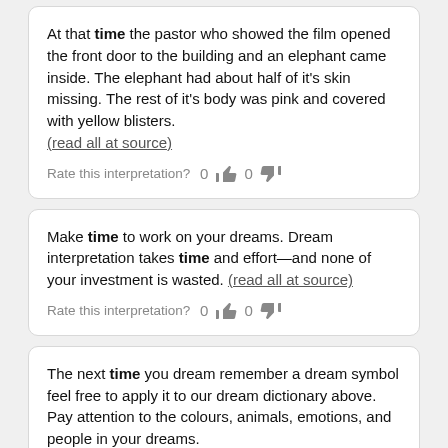At that time the pastor who showed the film opened the front door to the building and an elephant came inside. The elephant had about half of it's skin missing. The rest of it's body was pink and covered with yellow blisters. (read all at source)
Rate this interpretation? 0 [thumbs up] 0 [thumbs down]
Make time to work on your dreams. Dream interpretation takes time and effort—and none of your investment is wasted. (read all at source)
Rate this interpretation? 0 [thumbs up] 0 [thumbs down]
The next time you dream remember a dream symbol feel free to apply it to our dream dictionary above. Pay attention to the colours, animals, emotions, and people in your dreams.